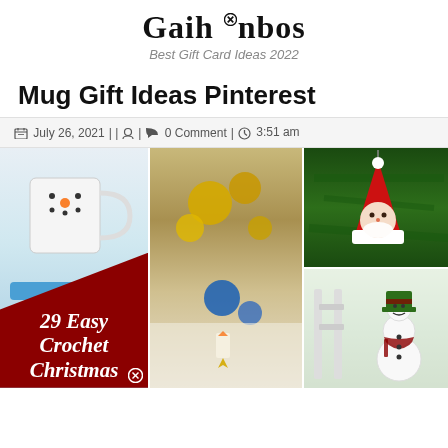Gaihanbos
Best Gift Card Ideas 2022
Mug Gift Ideas Pinterest
July 26, 2021 || [author icon] | [comment icon] 0 Comment | [clock icon] 3:51 am
[Figure (photo): Collage of four crochet Christmas-themed images: a snowman mug cozy on a white mug, Christmas ornaments and decorations on a lace tablecloth, a crocheted Santa Claus face ornament hanging on a tree, and a smiling crocheted snowman figure. Over the left image is a dark red overlay with white italic text '29 Easy Crochet Christmas...']